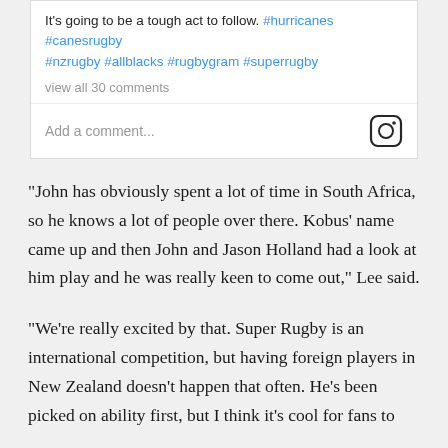[Figure (screenshot): Instagram comment section screenshot showing hashtags in blue (#hurricanes #canesrugby #nzrugby #allblacks #rugbygram #superrugby), a 'view all 30 comments' link, and an 'Add a comment...' input field with Instagram camera icon]
“John has obviously spent a lot of time in South Africa, so he knows a lot of people over there. Kobus’ name came up and then John and Jason Holland had a look at him play and he was really keen to come out,” Lee said.
“We’re really excited by that. Super Rugby is an international competition, but having foreign players in New Zealand doesn’t happen that often. He’s been picked on ability first, but I think it’s cool for fans to